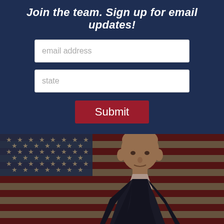Join the team. Sign up for email updates!
email address
state
Submit
[Figure (photo): A middle-aged bald man in a dark suit stands in front of a large American flag with stars and stripes visible.]